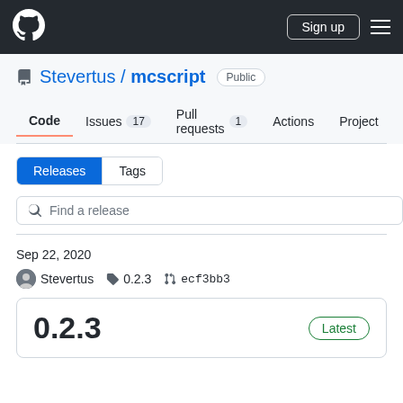GitHub navigation bar with logo, Sign up button, and hamburger menu
Stevertus / mcscript Public
Code  Issues 17  Pull requests 1  Actions  Project
Releases  Tags
Find a release
Sep 22, 2020
Stevertus  0.2.3  ecf3bb3
0.2.3  Latest